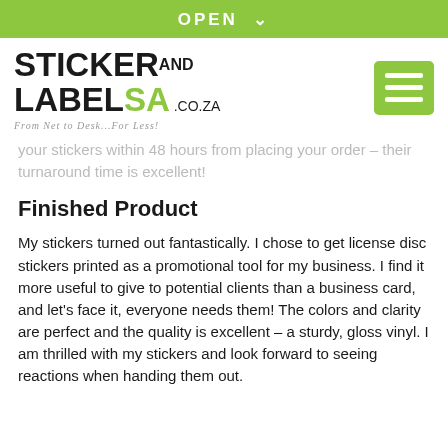OPEN ∨
[Figure (logo): Sticker and Label SA .co.za logo with tagline 'From Net to Desk...For Less!' and green hamburger menu button]
your stickers within 48 hours from placing your order – their turnaround time is excellent!
Finished Product
My stickers turned out fantastically. I chose to get license disc stickers printed as a promotional tool for my business. I find it more useful to give to potential clients than a business card, and let's face it, everyone needs them! The colors and clarity are perfect and the quality is excellent – a sturdy, gloss vinyl. I am thrilled with my stickers and look forward to seeing reactions when handing them out.